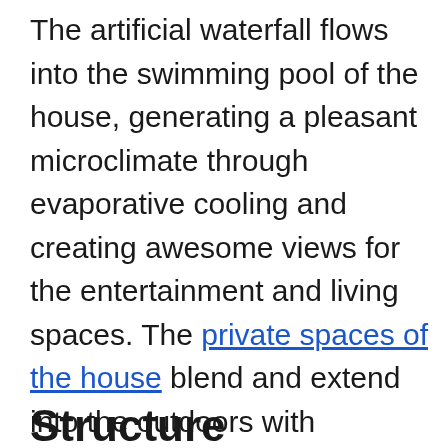The artificial waterfall flows into the swimming pool of the house, generating a pleasant microclimate through evaporative cooling and creating awesome views for the entertainment and living spaces. The private spaces of the house blend and extend into the outdoors with bathrooms integrated with courtyards and sit-outs. The furniture and artwork reflect the visual language of spatial and structural elements to complement the earthy greys and white of the color scheme.
Structure